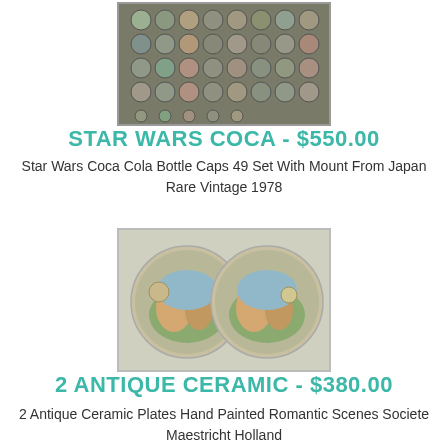[Figure (photo): Star Wars Coca Cola bottle caps 49 set with mount, vintage 1978 from Japan, showing a grid of circular bottle caps]
STAR WARS COCA - $550.00
Star Wars Coca Cola Bottle Caps 49 Set With Mount From Japan Rare Vintage 1978
[Figure (photo): Two antique ceramic plates with hand painted romantic scenes, Societe Maestricht Holland]
2 ANTIQUE CERAMIC - $380.00
2 Antique Ceramic Plates Hand Painted Romantic Scenes Societe Maestricht Holland